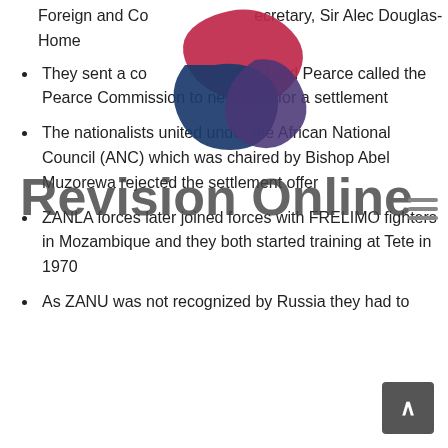Foreign and Commonwealth Secretary, Sir Alec Douglas-Home
They sent a commission led by Lord Pearce called the Pearce Commission to negotiate for a settlement
The nationalists united under the African National Council (ANC) which was chaired by Bishop Abel Muzorewa rejected the settlement offer
ZANLA forces later joined forces with FRELIMO fighters in Mozambique and they both started training at Tete in 1970
As ZANU was not recognized by Russia they had to
[Figure (logo): Revision Online logo with red and blue puzzle-piece style icon and text 'Revision Online']